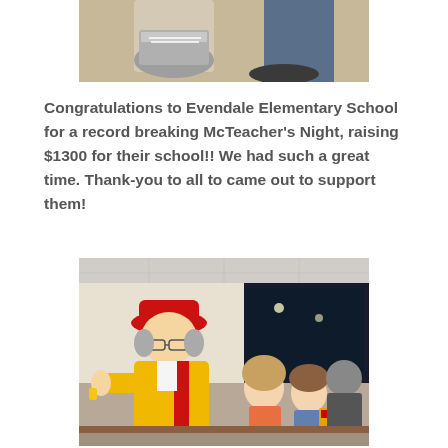[Figure (photo): Close-up photo of feet/shoes on a floor, partial view, appears to be inside a building.]
Congratulations to Evendale Elementary School for a record breaking McTeacher's Night, raising $1300 for their school!!  We had such a great time.  Thank-you to all to came out to support them!
[Figure (photo): Photo of an elderly man dressed as Ronald McDonald (red hat, yellow and red outfit) performing or interacting with two young children (a girl and a boy) at a McDonald's restaurant. A man sits in the background.]